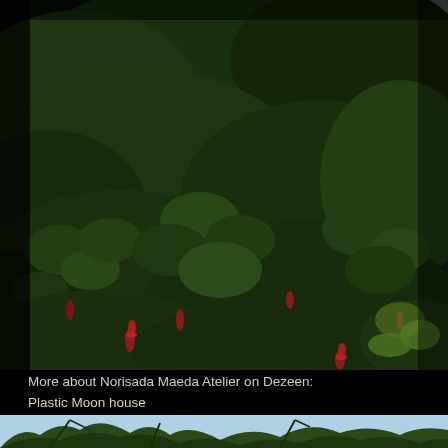[Figure (photo): Photograph of dense garden foliage — dark green shrubs and bushes with occasional red flowers/buds, taken in low light. A structure or wall visible in the background upper right, with sky peeking through. Dark, moody outdoor scene.]
More about Norisada Maeda Atelier on Dezeen:
Plastic Moon house
[Figure (photo): Partial photograph at the bottom of the page showing tree branches against a light blue sky.]